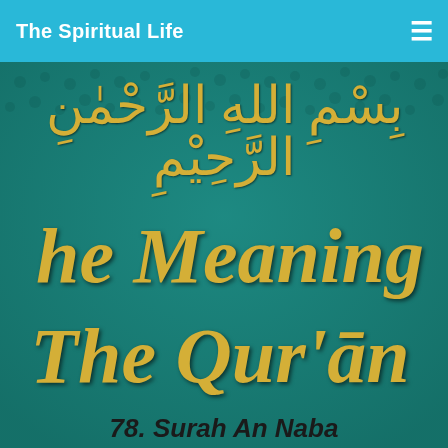The Spiritual Life
[Figure (photo): Close-up photograph of a green leather-bound Quran book cover showing Arabic calligraphy 'Bismillah ir-Rahman ir-Raheem' in gold at the top, and partial text reading 'The Meaning of The Qur'an' in large gold italic letters, with '78. Surah An Naba' visible at the bottom edge.]